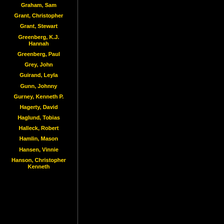Graham, Sam
Grant, Christopher
Grant, Stewart
Greenberg, K.J. Hannah
Greenberg, Paul
Grey, John
Guirand, Leyla
Gunn, Johnny
Gurney, Kenneth P.
Hagerty, David
Haglund, Tobias
Halleck, Robert
Hamlin, Mason
Hansen, Vinnie
Hanson, Christopher Kenneth